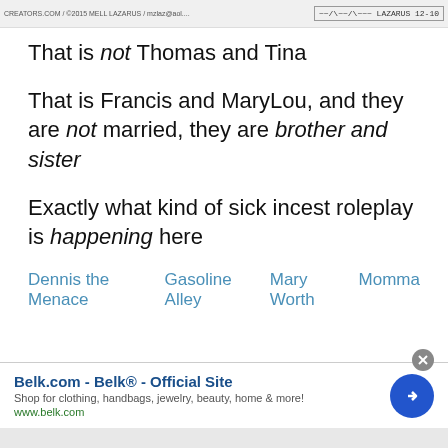[Figure (illustration): Top strip showing comic strip image with creators.com watermark on left and a panel with handwritten text 'LAZARUS 12-10' on right]
That is not Thomas and Tina
That is Francis and MaryLou, and they are not married, they are brother and sister
Exactly what kind of sick incest roleplay is happening here
Dennis the Menace    Gasoline Alley    Mary Worth    Momma
[Figure (screenshot): Advertisement banner for Belk.com - Belk® - Official Site. Shop for clothing, handbags, jewelry, beauty, home & more! www.belk.com. With a blue circular arrow button and an X close button.]